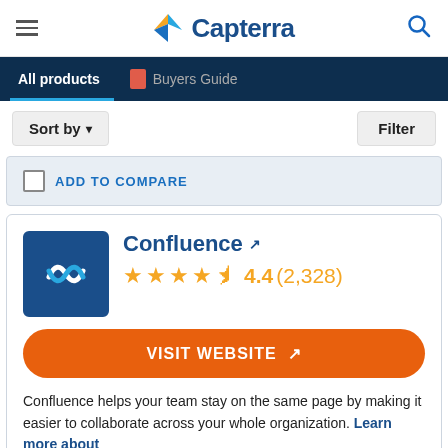Capterra
All products | Buyers Guide
Sort by  Filter
ADD TO COMPARE
Confluence
4.4 (2,328)
VISIT WEBSITE
Confluence helps your team stay on the same page by making it easier to collaborate across your whole organization. Learn more about